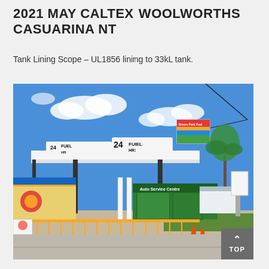2021 MAY CALTEX WOOLWORTHS CASUARINA NT
Tank Lining Scope – UL1856 lining to 33kL tank.
[Figure (photo): Exterior photo of a Caltex Woolworths petrol station in Casuarina NT. The forecourt canopy displays '24 FUEL HR' signage. The station includes an Auto Service Centre with green facade, palm trees visible in background, orange traffic cones and fencing around the site, under a blue sky with scattered clouds.]